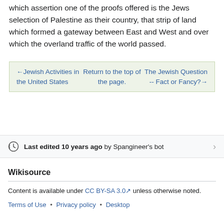which assertion one of the proofs offered is the Jews selection of Palestine as their country, that strip of land which formed a gateway between East and West and over which the overland traffic of the world passed.
| ←Jewish Activities in the United States | Return to the top of the page. | The Jewish Question -- Fact or Fancy?→ |
Last edited 10 years ago by Spangineer's bot
Wikisource
Content is available under CC BY-SA 3.0 unless otherwise noted.
Terms of Use • Privacy policy • Desktop